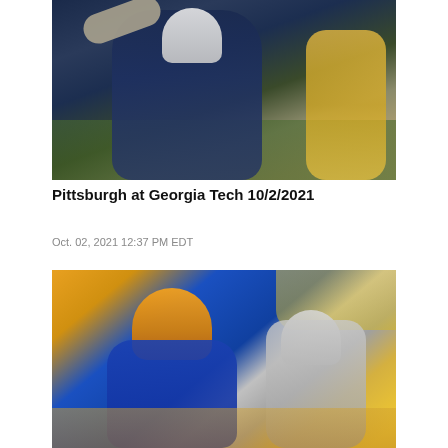[Figure (photo): Football player wearing navy blue Georgia Tech jersey number 8 reaching to catch a ball, with a Pittsburgh player in yellow/gold uniform visible in background on a green field]
Pittsburgh at Georgia Tech 10/2/2021
Oct. 02, 2021 12:37 PM EDT
[Figure (photo): Pittsburgh Pitt player wearing blue jersey number 87 with gold helmet engaging with an opponent in white/gray uniform during a football game, with crowd visible in background]